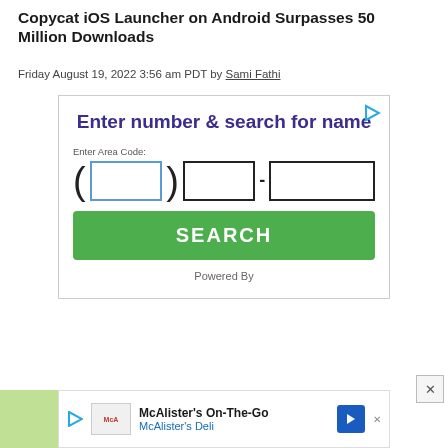Copycat iOS Launcher on Android Surpasses 50 Million Downloads
Friday August 19, 2022 3:56 am PDT by Sami Fathi
[Figure (screenshot): Advertisement widget: 'Enter number & search for name' with phone number input fields and a green SEARCH button, Powered By label]
[Figure (screenshot): Bottom advertisement: McAlister's On-The-Go, McAlister's Deli with logo and navigation arrow]